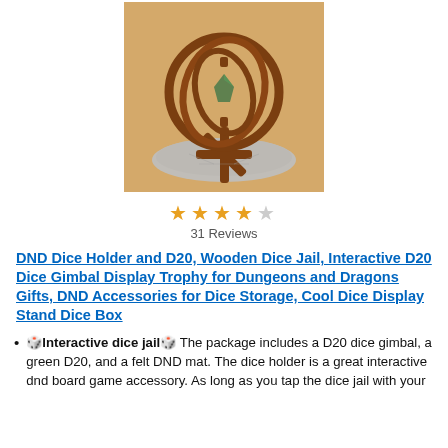[Figure (photo): A wooden D20 dice gimbal display stand on a round felt mat, photographed on a wooden surface background.]
31 Reviews
DND Dice Holder and D20, Wooden Dice Jail, Interactive D20 Dice Gimbal Display Trophy for Dungeons and Dragons Gifts, DND Accessories for Dice Storage, Cool Dice Display Stand Dice Box
🎲Interactive dice jail🎲 The package includes a D20 dice gimbal, a green D20, and a felt DND mat. The dice holder is a great interactive dnd board game accessory. As long as you tap the dice jail with your